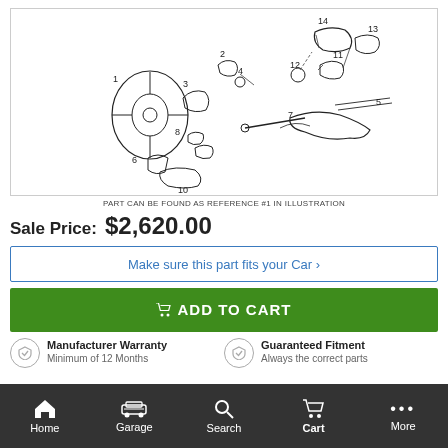[Figure (engineering-diagram): Exploded parts diagram of a steering column assembly with numbered components 1-14. Parts include steering wheel hub (1), turn signal assembly (2-4), steering column shaft (5-7), lock cylinder (8-9), and related hardware (10-14).]
PART CAN BE FOUND AS REFERENCE #1 IN ILLUSTRATION
Sale Price: $2,620.00
Make sure this part fits your Car ›
ADD TO CART
Manufacturer Warranty
Minimum of 12 Months
Guaranteed Fitment
Always the correct parts
Home  Garage  Search  Cart  More